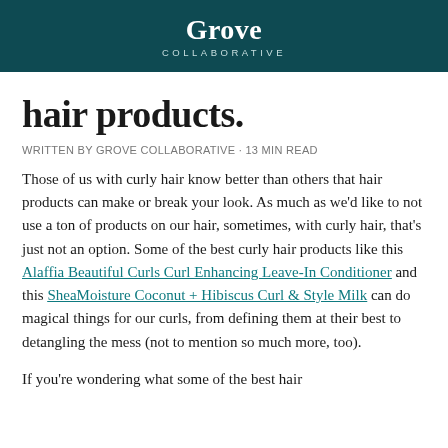Grove COLLABORATIVE
hair products.
WRITTEN BY GROVE COLLABORATIVE · 13 min read
Those of us with curly hair know better than others that hair products can make or break your look. As much as we'd like to not use a ton of products on our hair, sometimes, with curly hair, that's just not an option. Some of the best curly hair products like this Alaffia Beautiful Curls Curl Enhancing Leave-In Conditioner and this SheaMoisture Coconut + Hibiscus Curl & Style Milk can do magical things for our curls, from defining them at their best to detangling the mess (not to mention so much more, too).
If you're wondering what some of the best hair